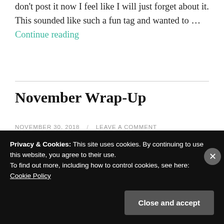don't post it now I feel like I will just forget about it. This sounded like such a fun tag and wanted to … Continue reading
November Wrap-Up
NOVEMBER 30, 2018 / LEAVE A COMMENT
Privacy & Cookies: This site uses cookies. By continuing to use this website, you agree to their use.
To find out more, including how to control cookies, see here: Cookie Policy
Close and accept